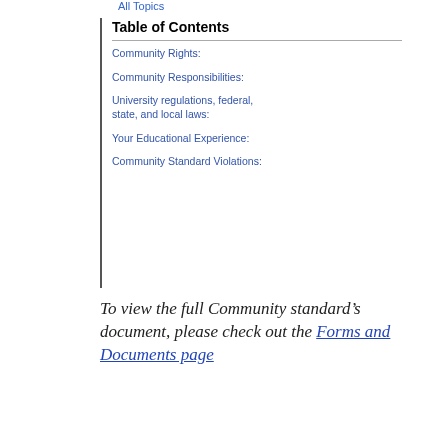All Topics
Table of Contents
Community Rights:
Community Responsibilities:
University regulations, federal, state, and local laws:
Your Educational Experience:
Community Standard Violations:
To view the full Community standard’s document, please check out the Forms and Documents page